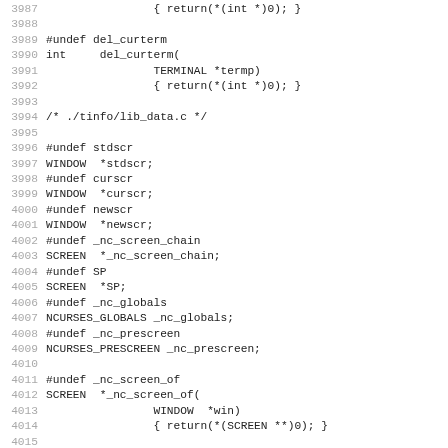Source code listing lines 3987-4019, showing C preprocessor macros and function stubs for ncurses library including del_curterm, lib_data.c globals, and lib_has_cap.c